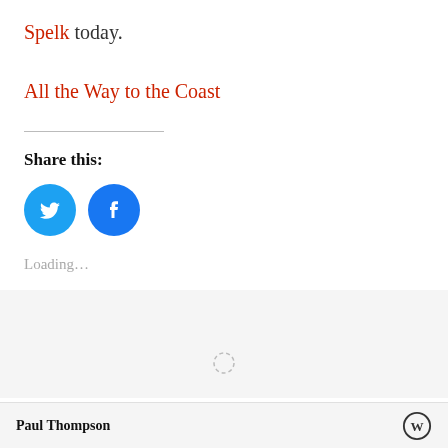Spelk today.
All the Way to the Coast
Share this:
[Figure (illustration): Twitter and Facebook share icon buttons (circular blue icons with bird and 'f' logos)]
Loading...
[Figure (illustration): Loading spinner (circular dotted spinner icon)]
Paul Thompson